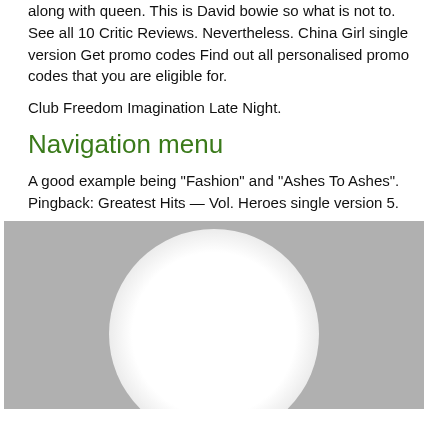along with queen. This is David bowie so what is not to. See all 10 Critic Reviews. Nevertheless. China Girl single version Get promo codes Find out all personalised promo codes that you are eligible for.
Club Freedom Imagination Late Night.
Navigation menu
A good example being "Fashion" and "Ashes To Ashes". Pingback: Greatest Hits — Vol. Heroes single version 5.
[Figure (photo): A grey placeholder image with a bright white circular glow/light effect centered near the bottom of the image.]